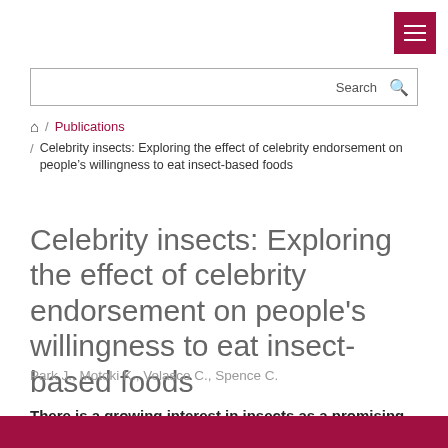Menu
Search
/ Publications / Celebrity insects: Exploring the effect of celebrity endorsement on people’s willingness to eat insect-based foods
Celebrity insects: Exploring the effect of celebrity endorsement on people's willingness to eat insect-based foods
Park J., Motoki K., Velasco C., Spence C.
There is a growing interest in insects as a promising